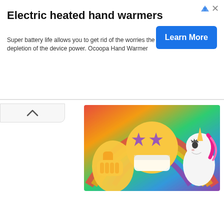[Figure (infographic): Advertisement banner for electric heated hand warmers with a Learn More button]
Electric heated hand warmers
Super battery life allows you to get rid of the worries the depletion of the device power. Ocoopa Hand Warmer
[Figure (illustration): Colorful emoji illustration with star-eyes emoji wearing mask, thumbs up emoji, unicorn, and rainbow background]
[Figure (illustration): 3D medical illustration of a lower jaw dental model showing dental implants (screws) inserted in pink gum tissue with white teeth crowns]